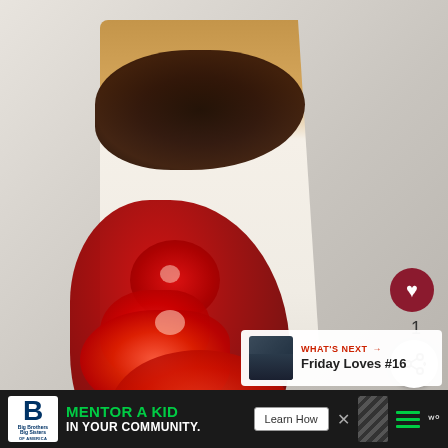[Figure (photo): Close-up photo of a slice of cheesecake topped with dark chocolate ganache and cherry sauce/cherries dripping down, on a white plate]
1
WHAT'S NEXT → Friday Loves #16
MENTOR A KID IN YOUR COMMUNITY.
Learn How